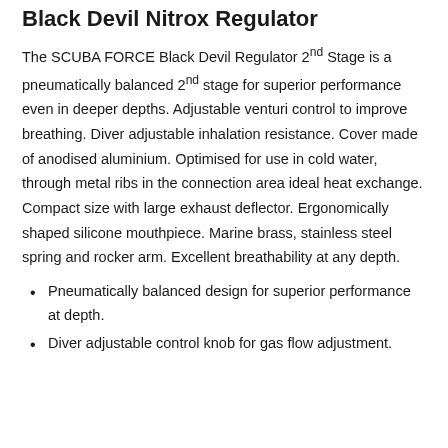Black Devil Nitrox Regulator
The SCUBA FORCE Black Devil Regulator 2nd Stage is a pneumatically balanced 2nd stage for superior performance even in deeper depths. Adjustable venturi control to improve breathing. Diver adjustable inhalation resistance. Cover made of anodised aluminium. Optimised for use in cold water, through metal ribs in the connection area ideal heat exchange. Compact size with large exhaust deflector. Ergonomically shaped silicone mouthpiece. Marine brass, stainless steel spring and rocker arm. Excellent breathability at any depth.
Pneumatically balanced design for superior performance at depth.
Diver adjustable control knob for gas flow adjustment.